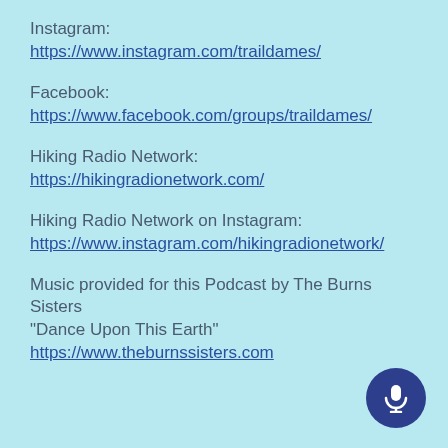Instagram:
https://www.instagram.com/traildames/
Facebook:
https://www.facebook.com/groups/traildames/
Hiking Radio Network:
https://hikingradionetwork.com/
Hiking Radio Network on Instagram:
https://www.instagram.com/hikingradionetwork/
Music provided for this Podcast by The Burns Sisters
"Dance Upon This Earth"
https://www.theburnssisters.com